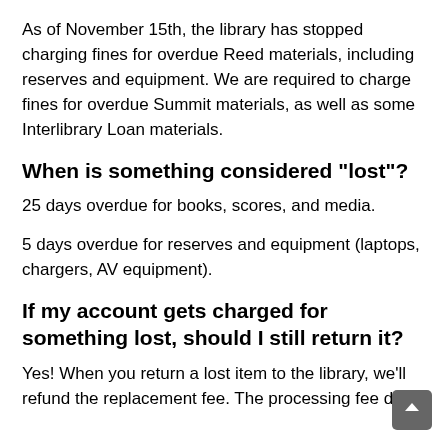As of November 15th, the library has stopped charging fines for overdue Reed materials, including reserves and equipment. We are required to charge fines for overdue Summit materials, as well as some Interlibrary Loan materials.
When is something considered "lost"?
25 days overdue for books, scores, and media.
5 days overdue for reserves and equipment (laptops, chargers, AV equipment).
If my account gets charged for something lost, should I still return it?
Yes! When you return a lost item to the library, we'll refund the replacement fee. The processing fee does